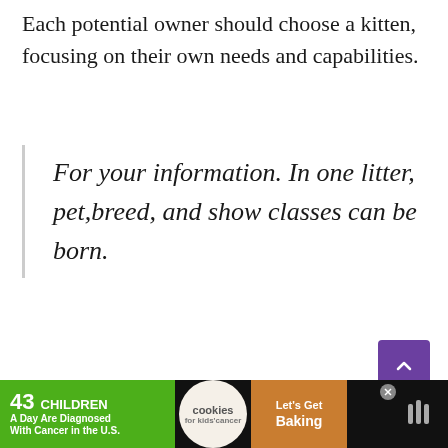Each potential owner should choose a kitten, focusing on their own needs and capabilities.
For your information. In one litter, pet,breed, and show classes can be born.
[Figure (other): Purple scroll-to-top button with upward chevron arrow]
[Figure (other): Advertisement banner: '43 CHILDREN A Day Are Diagnosed With Cancer in the U.S.' with cookies for kids cancer logo and Let's Get Baking promotion]